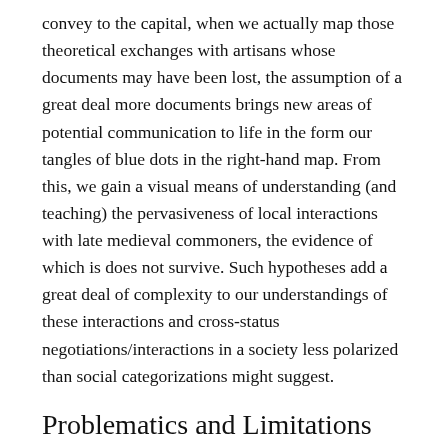convey to the capital, when we actually map those theoretical exchanges with artisans whose documents may have been lost, the assumption of a great deal more documents brings new areas of potential communication to life in the form our tangles of blue dots in the right-hand map. From this, we gain a visual means of understanding (and teaching) the pervasiveness of local interactions with late medieval commoners, the evidence of which is does not survive. Such hypotheses add a great deal of complexity to our understandings of these interactions and cross-status negotiations/interactions in a society less polarized than social categorizations might suggest.
Problematics and Limitations
As with my network analysis visualizations, there are a number of issues that arise when working with